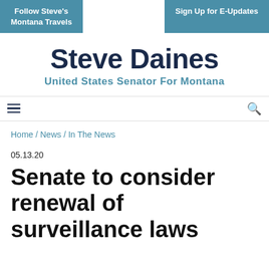Follow Steve's Montana Travels
Sign Up for E-Updates
Steve Daines
United States Senator For Montana
Home / News / In The News
05.13.20
Senate to consider renewal of surveillance laws